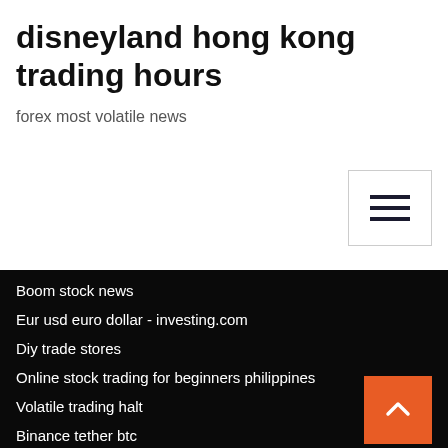disneyland hong kong trading hours
forex most volatile news
Boom stock news
Eur usd euro dollar - investing.com
Diy trade stores
Online stock trading for beginners philippines
Volatile trading halt
Binance tether btc
Doctor pepper snapple stock
European natural gas prices news
3 stocks to buy cnn money